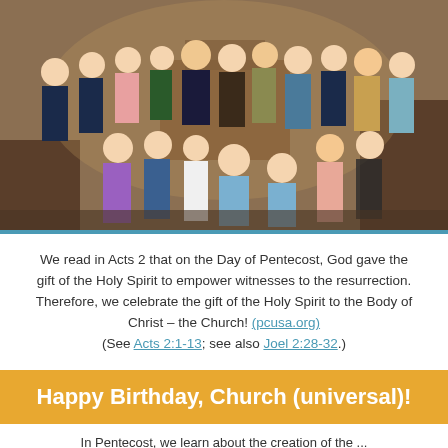[Figure (photo): A large group of people (approximately 20) posing together inside a church sanctuary with wooden pews and altar visible in the background. Men, women, and children dressed in formal/semi-formal attire.]
We read in Acts 2 that on the Day of Pentecost, God gave the gift of the Holy Spirit to empower witnesses to the resurrection. Therefore, we celebrate the gift of the Holy Spirit to the Body of Christ – the Church! (pcusa.org) (See Acts 2:1-13; see also Joel 2:28-32.)
Happy Birthday, Church (universal)!
In Pentecost, we learn about the creation of the...